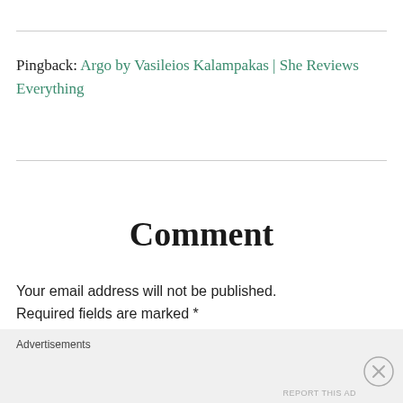Pingback: Argo by Vasileios Kalampakas | She Reviews Everything
Comment
Your email address will not be published. Required fields are marked *
Comment *
Advertisements